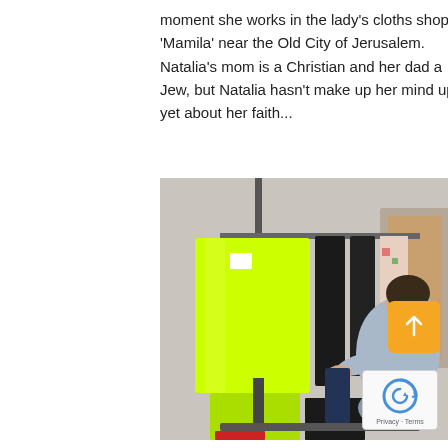moment she works in the lady's cloths shop in 'Mamila' near the Old City of Jerusalem. Natalia's mom is a Christian and her dad a Jew, but Natalia hasn't make up her mind up yet about her faith...
[Figure (photo): A smiling young woman with dark hair in a ponytail, wearing a light grey top, browsing through clothing on a rack in a clothing shop. Prominent neon yellow garments hang in the foreground on the rack.]